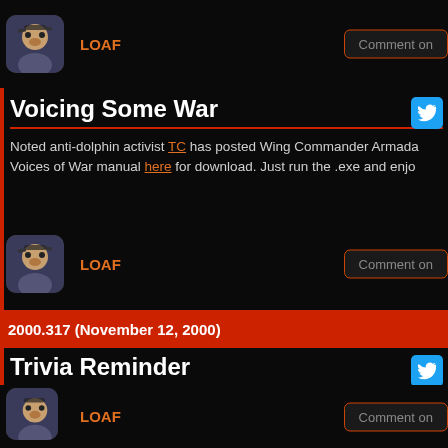LOAF
Comment on
Voicing Some War
Noted anti-dolphin activist TC has posted Wing Commander Armada Voices of War manual here for download. Just run the .exe and enjoy.
LOAF
Comment on
2000.317 (November 12, 2000)
Trivia Reminder
Just a quick reminder -- CIC/agwc trivia responses for Week 2 are d... Chris Reid today! So finish 'em up, and find the glory that you seek!
LOAF
Comment on